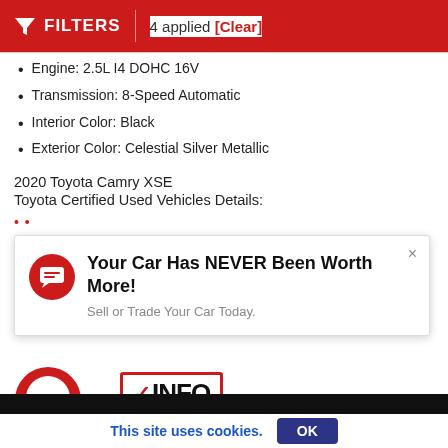FILTERS | 4 applied [Clear]
Engine: 2.5L I4 DOHC 16V
Transmission: 8-Speed Automatic
Interior Color: Black
Exterior Color: Celestial Silver Metallic
2020 Toyota Camry XSE
Toyota Certified Used Vehicles Details:
[Figure (screenshot): Popup ad: 'Your Car Has NEVER Been Worth More! Sell or Trade Your Car Today.' with red chat icon and close button]
[Figure (logo): VINFO VEHICLE INFO REPORT logo with red checkmark inside a red-bordered box]
This site uses cookies.
OK